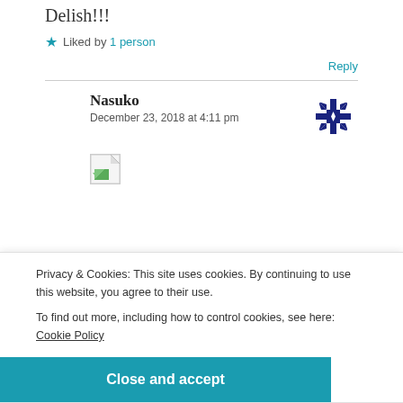Delish!!!
★ Liked by 1 person
Reply
Nasuko
December 23, 2018 at 4:11 pm
[Figure (other): Broken image placeholder thumbnail]
Privacy & Cookies: This site uses cookies. By continuing to use this website, you agree to their use.
To find out more, including how to control cookies, see here: Cookie Policy
Close and accept